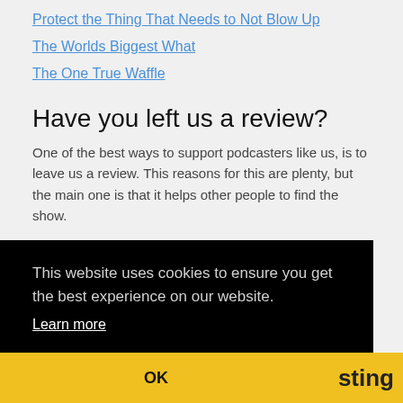Protect the Thing That Needs to Not Blow Up
The Worlds Biggest What
The One True Waffle
Have you left us a review?
One of the best ways to support podcasters like us, is to leave us a review. This reasons for this are plenty, but the main one is that it helps other people to find the show.
Each of the following icons links to a service which allows
This website uses cookies to ensure you get the best experience on our website.
Learn more
OK
sting